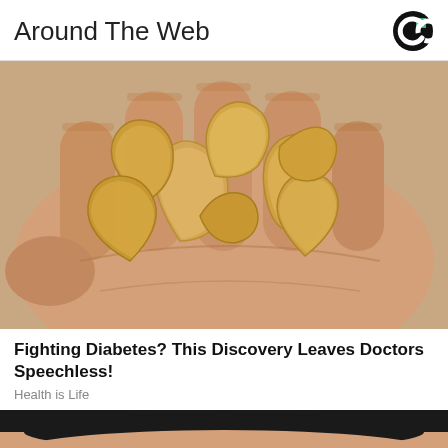Around The Web
[Figure (photo): A hand holding a pile of cashew nuts against a blurred background]
Fighting Diabetes? This Discovery Leaves Doctors Speechless!
Health is Life
[Figure (photo): Bottom of a person's face, dark hair visible at top of image]